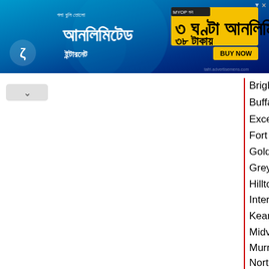[Figure (other): Advertisement banner in Bengali language for a telecommunications company offering unlimited internet plan for 38 taka with BUY NOW button]
Brigham City Fine Arts council
Buffalo Blessings
Excellence in the Community
Fort Douglas Military Museum Association
Golden Spike Gem & Mineral Society
Greyhound Gang
Hilltop United Methodist Church
Intermountain Memorial Clinic
Kearns-Saint Ann School
Midvale Arts Council Inc
Murray Concert Band
North Front Sound
Oquirrh Mountain Symphony
Peteetneet Museum
Salt Lake American
Silver Reef Foundation
St. George Area Tourism Office
The Melanoma Research Foundation
The Timpanogos Symphony Orchestra
Zion National Park Foundation
Zion Natural History Association